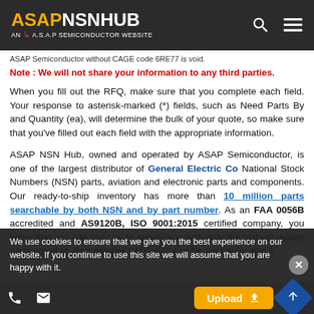ASAPNSNHUB AN A.S.A.P SEMICONDUCTOR WEBSITE
ASAP Semiconductor without CAGE code 6RE77 is void.
Note : We will not share your information to any third parties.
When you fill out the RFQ, make sure that you complete each field. Your response to asterisk-marked (*) fields, such as Need Parts By and Quantity (ea), will determine the bulk of your quote, so make sure that you've filled out each field with the appropriate information.
ASAP NSN Hub, owned and operated by ASAP Semiconductor, is one of the largest distributor of General Electric Co National Stock Numbers (NSN) parts, aviation and electronic parts and components. Our ready-to-ship inventory has more than 10 million parts searchable by both NSN and by part number. As an FAA 0056B accredited and AS9120B, ISO 9001:2015 certified company, you know that you can trust us to supply you with only the highest quality parts possible. Part number 141GW47 can be are happy with it.
We use cookies to ensure that we give you the best experience on our website. If you continue to use this site we will assume that you are happy with it.
Upload